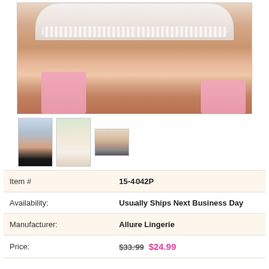[Figure (photo): Product photo showing model wearing white lace shorts and pink lace-top stockings]
[Figure (photo): Three thumbnail images of the product from different angles]
| Item # | 15-4042P |
| Availability: | Usually Ships Next Business Day |
| Manufacturer: | Allure Lingerie |
| Price: | $33.99  $24.99 |